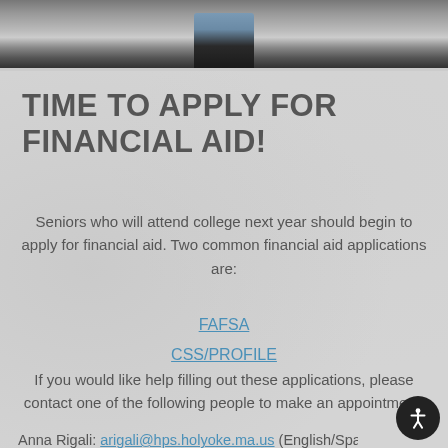[Figure (photo): Cropped photo showing lower portion of a person standing, wearing dark pants and light blue top, on steps or a tiled floor]
TIME TO APPLY FOR FINANCIAL AID!
Seniors who will attend college next year should begin to apply for financial aid. Two common financial aid applications are:
FAFSA
CSS/PROFILE
If you would like help filling out these applications, please contact one of the following people to make an appointment:
Anna Rigali: arigali@hps.holyoke.ma.us (English/Spanish)